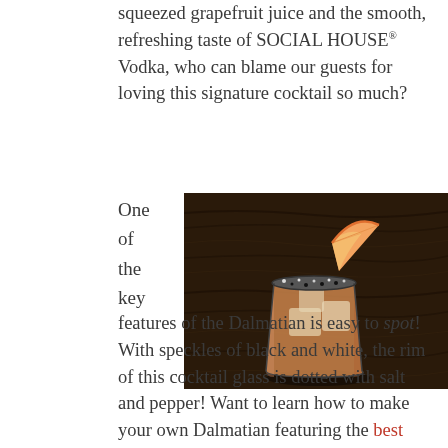squeezed grapefruit juice and the smooth, refreshing taste of SOCIAL HOUSE® Vodka, who can blame our guests for loving this signature cocktail so much?
One of the key
[Figure (photo): A cocktail in a short glass with ice, a grapefruit wedge garnish, and a black and white speckled salt-and-pepper rim, placed on a dark wood surface.]
features of the Dalmatian is easy to spot! With speckles of black and white, the rim of this cocktail glass is dotted with salt and pepper! Want to learn how to make your own Dalmatian featuring the best craft vodka? Continue on to